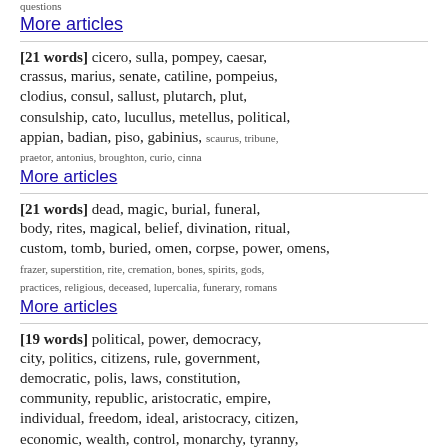questions
More articles
[21 words] cicero, sulla, pompey, caesar, crassus, marius, senate, catiline, pompeius, clodius, consul, sallust, plutarch, plut, consulship, cato, lucullus, metellus, political, appian, badian, piso, gabinius, scaurus, tribune, praetor, antonius, broughton, curio, cinna
More articles
[21 words] dead, magic, burial, funeral, body, rites, magical, belief, divination, ritual, custom, tomb, buried, omen, corpse, power, omens, frazer, superstition, rite, cremation, bones, spirits, gods, practices, religious, deceased, lupercalia, funerary, romans
More articles
[19 words] political, power, democracy, city, politics, citizens, rule, government, democratic, polis, laws, constitution, community, republic, aristocratic, empire, individual, freedom, ideal, aristocracy, citizen, economic, wealth, control, monarchy, tyranny, oligarchy, states, athens, institutions